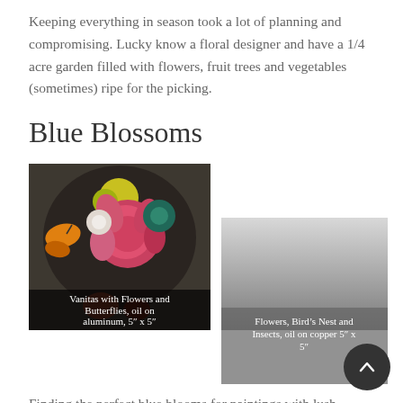Keeping everything in season took a lot of planning and compromising. Lucky know a floral designer and have a 1/4 acre garden filled with flowers, fruit trees and vegetables (sometimes) ripe for the picking.
Blue Blossoms
[Figure (photo): Painting of flowers with a butterfly on a dark background. Caption: Vanitas with Flowers and Butterflies, oil on aluminum, 5″ x 5″]
[Figure (photo): Partially visible painting with gray gradient background. Caption: Flowers, Bird’s Nest and Insects, oil on copper 5″ x 5″]
Finding the perfect blue blooms for paintings with lush bouquets was tricky. I heavily relied on my sister in law